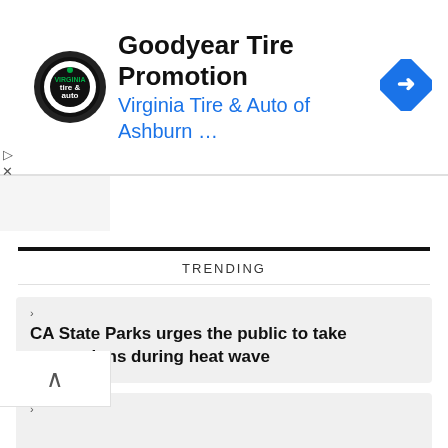[Figure (screenshot): Advertisement banner for Goodyear Tire Promotion by Virginia Tire & Auto of Ashburn with circular logo and navigation icon]
Goodyear Tire Promotion
Virginia Tire & Auto of Ashburn ...
TRENDING
CA State Parks urges the public to take precautions during heat wave